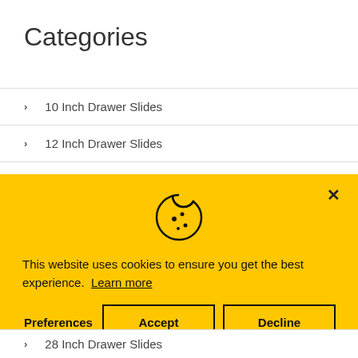Categories
10 Inch Drawer Slides
12 Inch Drawer Slides
14 Inch Drawer Slides
[Figure (other): Cookie consent banner with cookie icon, text 'This website uses cookies to ensure you get the best experience. Learn more', and three buttons: Preferences, Accept, Decline]
28 Inch Drawer Slides